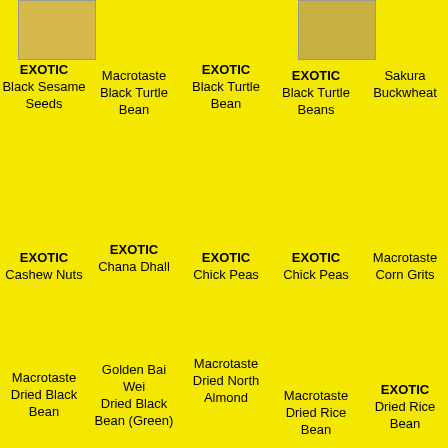[Figure (photo): Product image top left - EXOTIC Black Sesame Seeds package]
[Figure (photo): Product image top center-right - Black Turtle Beans package]
EXOTIC
Black Sesame Seeds
Macrotaste
Black Turtle Bean
EXOTIC
Black Turtle Bean
EXOTIC
Black Turtle Beans
Sakura
Buckwheat
EXOTIC
Cashew Nuts
EXOTIC
Chana Dhall
EXOTIC
Chick Peas
EXOTIC
Chick Peas
Macrotaste
Corn Grits
Macrotaste
Dried Black Bean
Golden Bai Wei
Dried Black Bean (Green)
Macrotaste
Dried North Almond
Macrotaste
Dried Rice Bean
EXOTIC
Dried Rice Bean